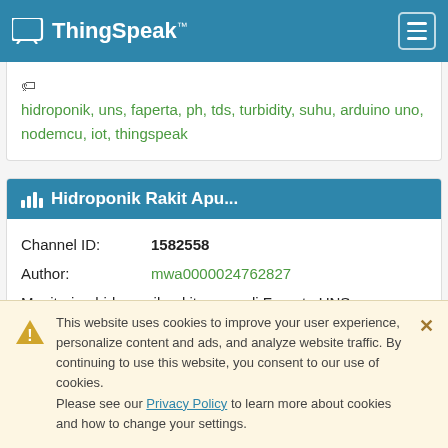ThingSpeak™
hidroponik, uns, faperta, ph, tds, turbidity, suhu, arduino uno, nodemcu, iot, thingspeak
Hidroponik Rakit Apu...
Channel ID: 1582558
Author: mwa0000024762827
Monitoring hidroponik rakit apung di Faperta UNS menggunakan sensor pH, TDS, Turbidity, DS18B20,
This website uses cookies to improve your user experience, personalize content and ads, and analyze website traffic. By continuing to use this website, you consent to our use of cookies. Please see our Privacy Policy to learn more about cookies and how to change your settings.